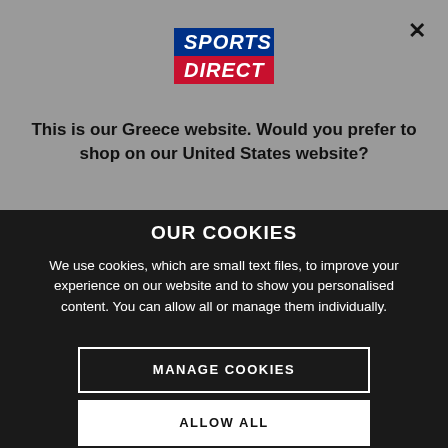[Figure (logo): Sports Direct logo with blue top block and red bottom block, italic bold white text]
This is our Greece website. Would you prefer to shop on our United States website?
OUR COOKIES
We use cookies, which are small text files, to improve your experience on our website and to show you personalised content. You can allow all or manage them individually.
MANAGE COOKIES
ALLOW ALL